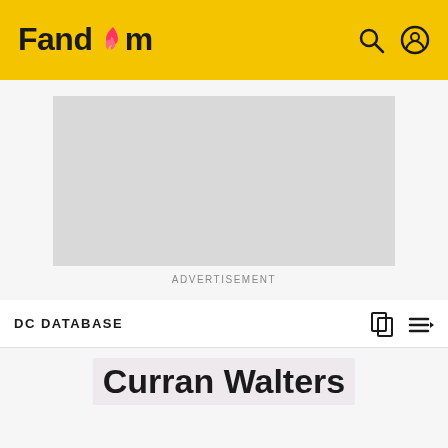Fandom
[Figure (other): Advertisement placeholder rectangle (gray box)]
ADVERTISEMENT
DC DATABASE
Curran Walters